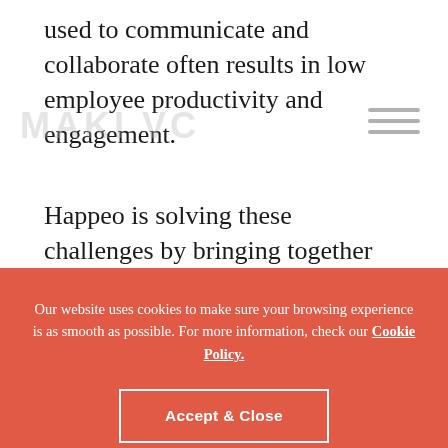used to communicate and collaborate often results in low employee productivity and engagement.
Happeo is solving these challenges by bringing together the software that organizations use daily into one unified
[Figure (screenshot): Cookie consent banner with salmon/coral background. Contains text: 'Our website uses cookies to make sure your browsing experience is as smooth as possible. For more information, check our Cookie Policy.' An 'Accept & Close' button with white border and a 'Customize preferences' text link below.]
year. The Next Web recognized Happeo as